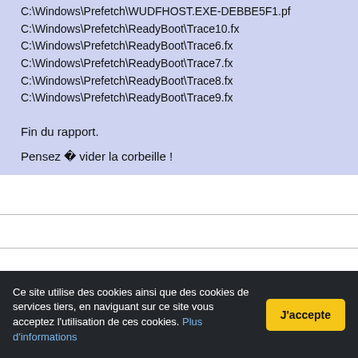C:\Windows\Prefetch\WUDFHOST.EXE-DEBBE5F1.pf
C:\Windows\Prefetch\ReadyBoot\Trace10.fx
C:\Windows\Prefetch\ReadyBoot\Trace6.fx
C:\Windows\Prefetch\ReadyBoot\Trace7.fx
C:\Windows\Prefetch\ReadyBoot\Trace8.fx
C:\Windows\Prefetch\ReadyBoot\Trace9.fx
Fin du rapport.
Pensez � vider la corbeille !
Signaler le contenu de ce document
Ce site utilise des cookies ainsi que des cookies de services tiers, en naviguant sur ce site vous acceptez l'utilisation de ces cookies. Plus d'informations